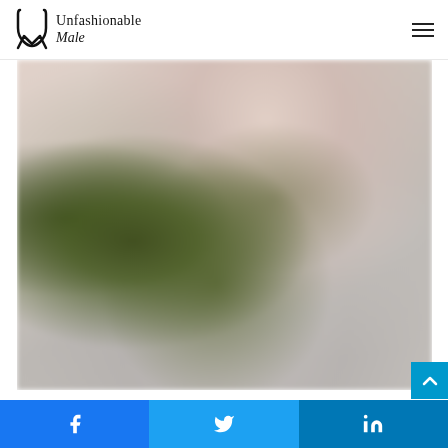Unfashionable Male
[Figure (photo): Blurry close-up photo showing a white/light grey fabric with wrinkles radiating outward, with green foliage and a bright sky visible in the background. Appears to be an outdoor fashion or menswear photo.]
Social share bar with Facebook, Twitter, and LinkedIn buttons